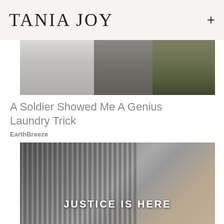TANIA JOY
[Figure (photo): Split image showing a white washing machine on the left and a soldier in camouflage uniform on the right]
A Soldier Showed Me A Genius Laundry Trick
EarthBreeze
[Figure (photo): Black and white image of military dog tags and chains hanging in rows, with text overlay reading JUSTICE IS HERE]